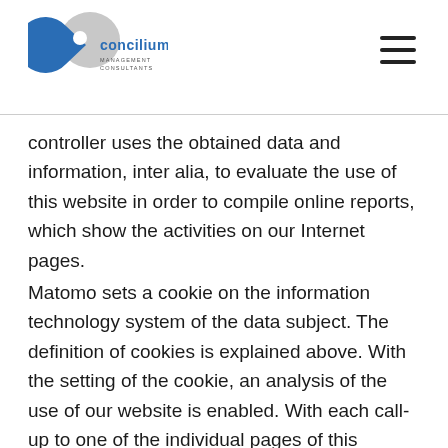concilium management consultants
controller uses the obtained data and information, inter alia, to evaluate the use of this website in order to compile online reports, which show the activities on our Internet pages.
Matomo sets a cookie on the information technology system of the data subject. The definition of cookies is explained above. With the setting of the cookie, an analysis of the use of our website is enabled. With each call-up to one of the individual pages of this website, the Internet browser on the information technology system of the data subject is automatically